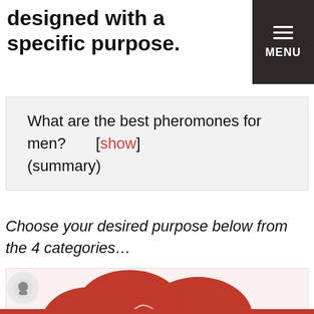designed with a specific purpose.
What are the best pheromones for men? [show] (summary)
Choose your desired purpose below from the 4 categories…
[Figure (illustration): A red stylized rose illustration on a light pink/white background, partially visible at the bottom of the page.]